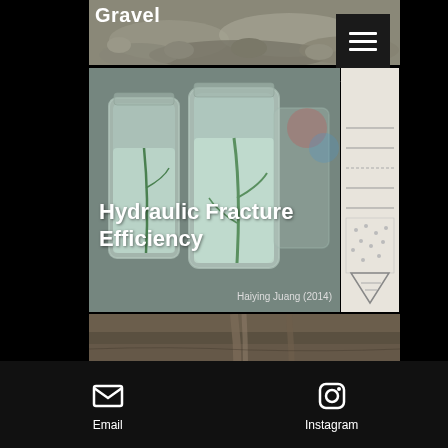Gravel
[Figure (photo): Photo of gravel/sand material, with 'Gravel' title overlaid in white text, and a hamburger menu button in the top right corner]
Lupher (1...
[Figure (photo): Photo of glass jars with liquid and plant material (hydraulic fracture experiment by Haiying Juang 2014), with title 'Hydraulic Fracture Efficiency' overlaid in white text]
Haiying Juang (2014)
[Figure (photo): Photo of clastic dike rock formation showing sedimentary layers and vertical dikes, with title 'Clastic Dikes: The Tops of Clastic Dikes' overlaid in white text]
Email   Instagram